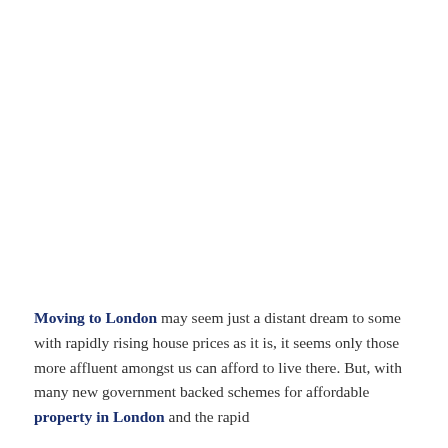Moving to London may seem just a distant dream to some with rapidly rising house prices as it is, it seems only those more affluent amongst us can afford to live there. But, with many new government backed schemes for affordable property in London and the rapid